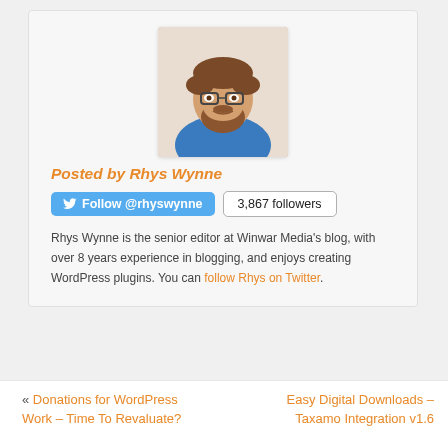[Figure (photo): Profile photo of Rhys Wynne, a bearded man with glasses wearing a blue shirt]
Posted by Rhys Wynne
Follow @rhyswynne  3,867 followers
Rhys Wynne is the senior editor at Winwar Media's blog, with over 8 years experience in blogging, and enjoys creating WordPress plugins. You can follow Rhys on Twitter.
« Donations for WordPress Work – Time To Revaluate?
Easy Digital Downloads – Taxamo Integration v1.6